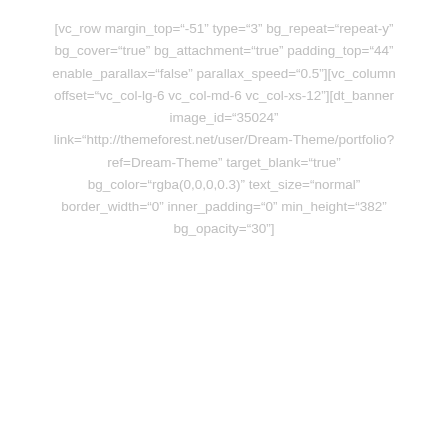[vc_row margin_top="-51" type="3" bg_repeat="repeat-y" bg_cover="true" bg_attachment="true" padding_top="44" enable_parallax="false" parallax_speed="0.5"][vc_column offset="vc_col-lg-6 vc_col-md-6 vc_col-xs-12"][dt_banner image_id="35024" link="http://themeforest.net/user/Dream-Theme/portfolio?ref=Dream-Theme" target_blank="true" bg_color="rgba(0,0,0,0.3)" text_size="normal" border_width="0" inner_padding="0" min_height="382" bg_opacity="30"]